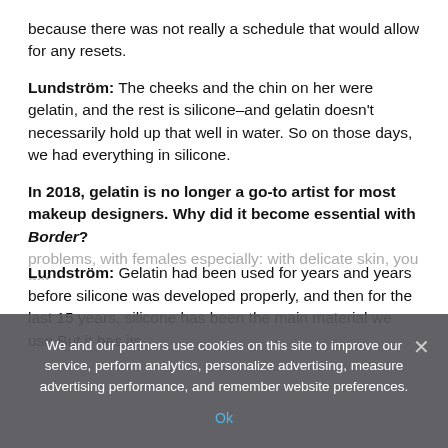because there was not really a schedule that would allow for any resets.
Lundström: The cheeks and the chin on her were gelatin, and the rest is silicone–and gelatin doesn't necessarily hold up that well in water. So on those days, we had everything in silicone.
In 2018, gelatin is no longer a go-to artist for most makeup designers. Why did it become essential with Border?
Lundström: Gelatin had been used for years and years before silicone was developed properly, and then for the last 15 years, silicone has been the main material we use.But it has its problems, with females especially: with delicate skin, you got
We and our partners use cookies on this site to improve our service, perform analytics, personalize advertising, measure advertising performance, and remember website preferences.
Ok